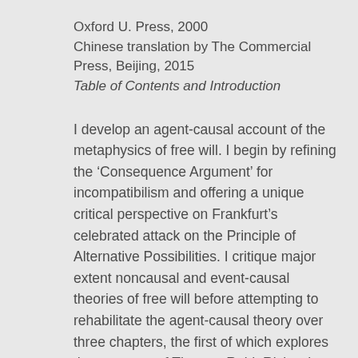Oxford U. Press, 2000
Chinese translation by The Commercial Press, Beijing, 2015
Table of Contents and Introduction
I develop an agent-causal account of the metaphysics of free will. I begin by refining the ‘Consequence Argument’ for incompatibilism and offering a unique critical perspective on Frankfurt’s celebrated attack on the Principle of Alternative Possibilities. I critique major extent noncausal and event-causal theories of free will before attempting to rehabilitate the agent-causal theory over three chapters, the first of which explores the accounts of Thomas Reid, Richard Taylor, and Roderick Chisholm. The book concludes with